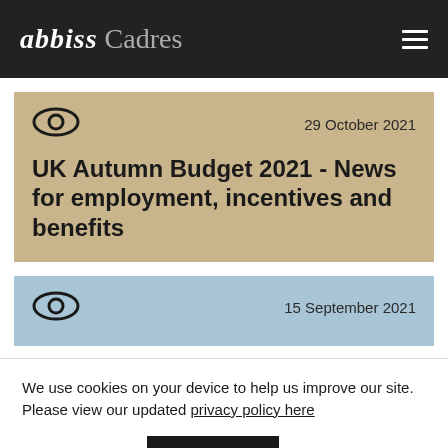Abbiss Cadres
29 October 2021
UK Autumn Budget 2021 - News for employment, incentives and benefits
15 September 2021
We use cookies on your device to help us improve our site. Please view our updated privacy policy here
Cookie settings
ACCEPT